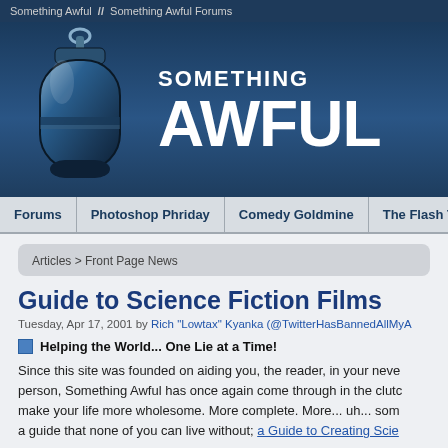Something Awful  //  Something Awful Forums
[Figure (logo): Something Awful website header with grenade logo and SOMETHING AWFUL text in white on dark blue background]
Forums | Photoshop Phriday | Comedy Goldmine | The Flash Tub | WTF, D...
Articles > Front Page News
Guide to Science Fiction Films
Tuesday, Apr 17, 2001 by Rich "Lowtax" Kyanka (@TwitterHasBannedAllMyA...
Helping the World... One Lie at a Time!
Since this site was founded on aiding you, the reader, in your neve... person, Something Awful has once again come through in the clutc... make your life more wholesome. More complete. More... uh... som... a guide that none of you can live without; a Guide to Creating Scie...